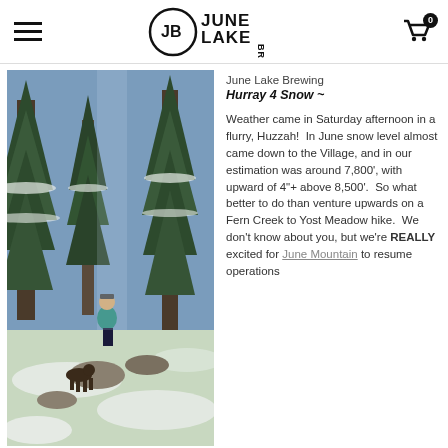June Lake Brewing — navigation header with logo and cart
[Figure (photo): Person hiking on a snow-dusted trail through tall pine/fir trees with a dog, rocks covered in light snow, bright blue sky visible through the trees.]
June Lake Brewing
Hurray 4 Snow ~
Weather came in Saturday afternoon in a flurry, Huzzah!  In June snow level almost came down to the Village, and in our estimation was around 7,800', with upward of 4"+ above 8,500'.  So what better to do than venture upwards on a Fern Creek to Yost Meadow hike.  We don't know about you, but we're REALLY excited for June Mountain to resume operations